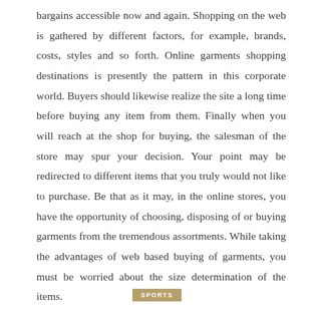bargains accessible now and again. Shopping on the web is gathered by different factors, for example, brands, costs, styles and so forth. Online garments shopping destinations is presently the pattern in this corporate world. Buyers should likewise realize the site a long time before buying any item from them. Finally when you will reach at the shop for buying, the salesman of the store may spur your decision. Your point may be redirected to different items that you truly would not like to purchase. Be that as it may, in the online stores, you have the opportunity of choosing, disposing of or buying garments from the tremendous assortments. While taking the advantages of web based buying of garments, you must be worried about the size determination of the items.
SPORTS